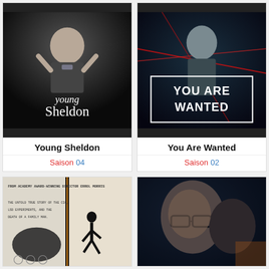[Figure (photo): Young Sheldon TV show poster – child adjusting bow tie]
Young Sheldon
Saison 04
[Figure (photo): You Are Wanted TV show poster – man with red laser effects]
You Are Wanted
Saison 02
[Figure (photo): Documentary film poster – CIA / LSD experiments story]
[Figure (photo): TV drama poster – two men's faces in dramatic blue lighting]